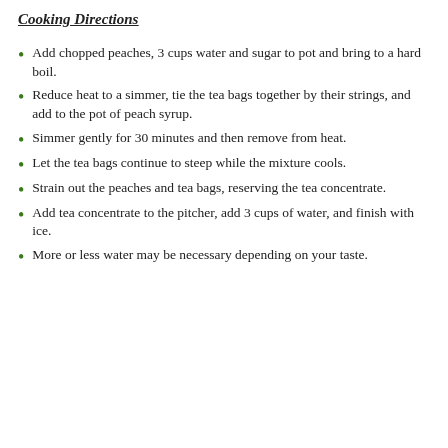Cooking Directions
Add chopped peaches, 3 cups water and sugar to pot and bring to a hard boil.
Reduce heat to a simmer, tie the tea bags together by their strings, and add to the pot of peach syrup.
Simmer gently for 30 minutes and then remove from heat.
Let the tea bags continue to steep while the mixture cools.
Strain out the peaches and tea bags, reserving the tea concentrate.
Add tea concentrate to the pitcher, add 3 cups of water, and finish with ice.
More or less water may be necessary depending on your taste.